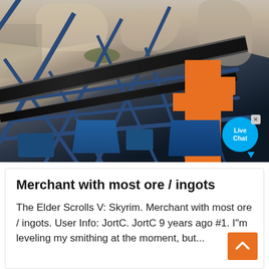[Figure (photo): Photo of an industrial mining or quarrying facility with blue steel conveyor belt structures, diagonal beams, blue hoppers, an orange structural element, rocky cliff face in background, and a Live Chat bubble overlay in the top-right corner.]
Merchant with most ore / ingots
The Elder Scrolls V: Skyrim. Merchant with most ore / ingots. User Info: JortC. JortC 9 years ago #1. I"m leveling my smithing at the moment, but...